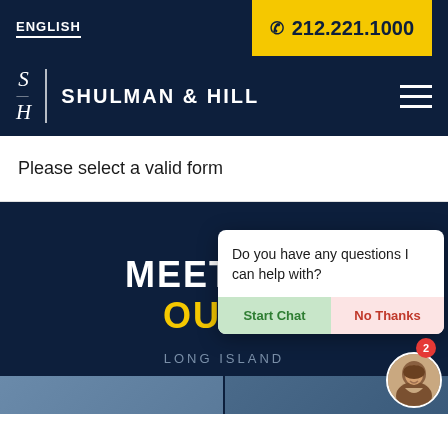ENGLISH
212.221.1000
[Figure (logo): Shulman & Hill law firm logo with SH monogram and firm name]
Please select a valid form
MEET THE
OUR T
LONG ISLAND
Do you have any questions I can help with?
Start Chat
No Thanks